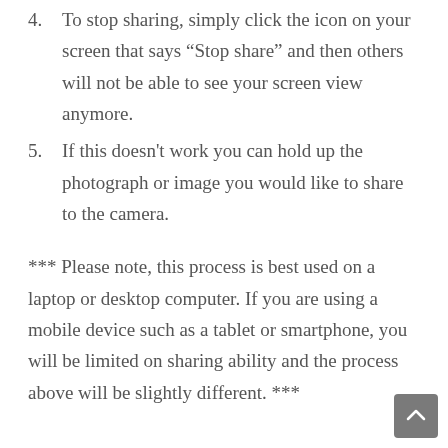4. To stop sharing, simply click the icon on your screen that says “Stop share” and then others will not be able to see your screen view anymore.
5. If this doesn't work you can hold up the photograph or image you would like to share to the camera.
*** Please note, this process is best used on a laptop or desktop computer. If you are using a mobile device such as a tablet or smartphone, you will be limited on sharing ability and the process above will be slightly different. ***